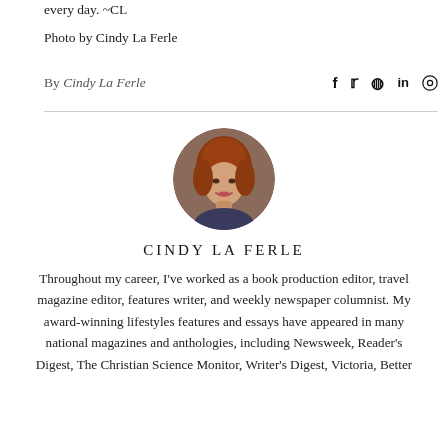every day. ~CL
Photo by Cindy La Ferle
By Cindy La Ferle
[Figure (photo): Circular portrait photo of Cindy La Ferle, a woman with red/auburn hair, smiling, wearing dark clothing]
CINDY LA FERLE
Throughout my career, I've worked as a book production editor, travel magazine editor, features writer, and weekly newspaper columnist. My award-winning lifestyles features and essays have appeared in many national magazines and anthologies, including Newsweek, Reader's Digest, The Christian Science Monitor, Writer's Digest, Victoria, Better